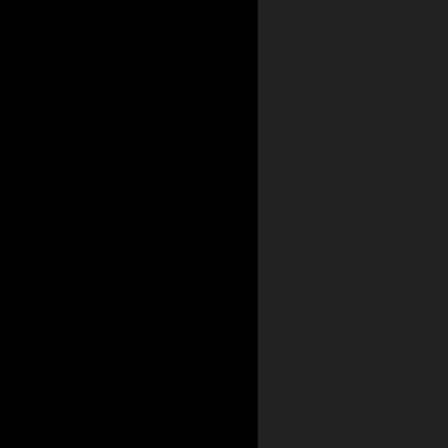[Figure (photo): Top strip showing partial image at top of right panel]
Like most people, I have been when a few weeks ago Yama the media about the announc  The 6th came and I was rea was for the new "Star Eluder"
"Eludes" evade or esc
[Figure (photo): Partial photo of a blue motorcycle (Star Eluder) shown in bottom right, white background with blue fairing and chrome accents visible]